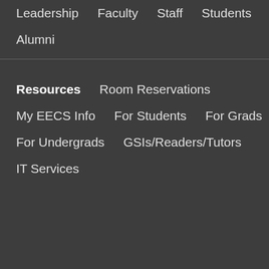Leadership
Faculty
Staff
Students
Alumni
Resources
Room Reservations
My EECS Info
For Students
For Grads
For Undergrads
GSIs/Readers/Tutors
IT Services